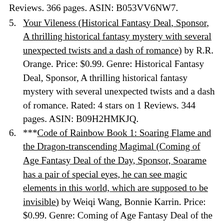Your Vileness (Historical Fantasy Deal, Sponsor, A thrilling historical fantasy mystery with several unexpected twists and a dash of romance) by R.R. Orange. Price: $0.99. Genre: Historical Fantasy Deal, Sponsor, A thrilling historical fantasy mystery with several unexpected twists and a dash of romance. Rated: 4 stars on 1 Reviews. 344 pages. ASIN: B09H2HMKJQ.
***Code of Rainbow Book 1: Soaring Flame and the Dragon-transcending Magimal (Coming of Age Fantasy Deal of the Day, Sponsor, Soarame has a pair of special eyes, he can see magic elements in this world, which are supposed to be invisible) by Weiqi Wang, Bonnie Karrin. Price: $0.99. Genre: Coming of Age Fantasy Deal of the Day, Sponsor, Soarame has a pair of special eyes, he can see magic elements in this world, which are supposed to be invisible. Rated: 4.5 stars on 532